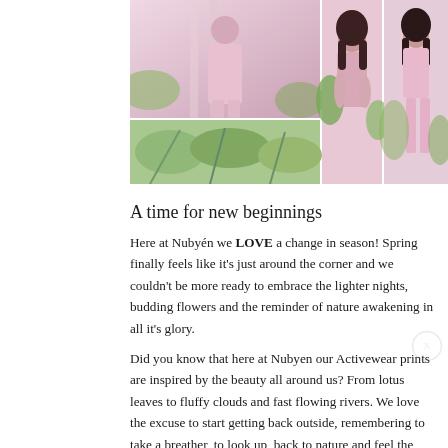[Figure (photo): Photo collage of three women wearing pink activewear/lingerie in outdoor settings with tropical plants. Large left image shows woman on stairs, center tall image shows woman sitting with plants, right tall image shows woman standing outdoors, bottom left image shows tropical greenery.]
A time for new beginnings
Here at Nubyén we LOVE a change in season! Spring finally feels like it's just around the corner and we couldn't be more ready to embrace the lighter nights, budding flowers and the reminder of nature awakening in all it's glory.
Did you know that here at Nubyen our Activewear prints are inspired by the beauty all around us? From lotus leaves to fluffy clouds and fast flowing rivers. We love the excuse to start getting back outside, remembering to take a breather, to look up, back to nature and feel the fresh air and that little glimmer of sunshine on our skin.
Whether your go to workouts are high impact or